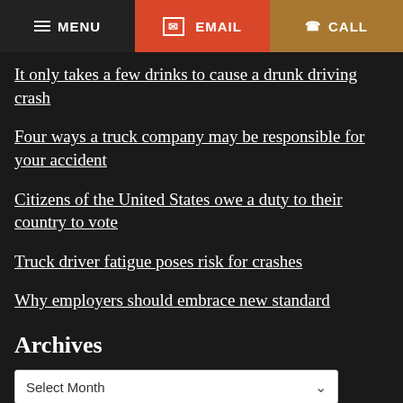MENU  EMAIL  CALL
It only takes a few drinks to cause a drunk driving crash
Four ways a truck company may be responsible for your accident
Citizens of the United States owe a duty to their country to vote
Truck driver fatigue poses risk for crashes
Why employers should embrace new standard
Archives
Select Month